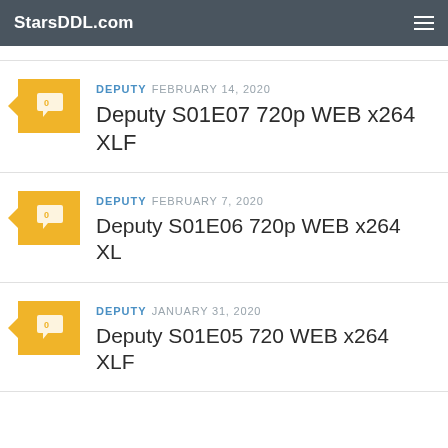StarsDDL.com
DEPUTY  FEBRUARY 14, 2020
Deputy S01E07 720p WEB x264 XLF
DEPUTY  FEBRUARY 7, 2020
Deputy S01E06 720p WEB x264 XL
DEPUTY  JANUARY 31, 2020
Deputy S01E05 720 WEB x264 XLF